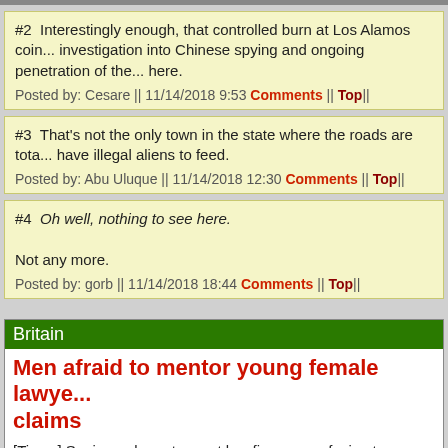#2  Interestingly enough, that controlled burn at Los Alamos coin... investigation into Chinese spying and ongoing penetration of the... here.
Posted by: Cesare || 11/14/2018 9:53 Comments || Top||
#3  That's not the only town in the state where the roads are tota... have illegal aliens to feed.
Posted by: Abu Uluque || 11/14/2018 12:30 Comments || Top||
#4  Oh well, nothing to see here.

Not any more.
Posted by: gorb || 11/14/2018 18:44 Comments || Top||
Britain
Men afraid to mentor young female lawye... claims
[Times] Senior male partners at law firms are refusing to mentor younger women because of fears that unjustified allegations will be made against them, the head of the profession claims.